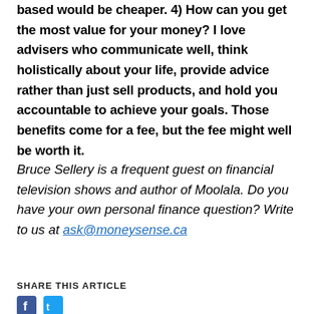based would be cheaper. 4) How can you get the most value for your money? I love advisers who communicate well, think holistically about your life, provide advice rather than just sell products, and hold you accountable to achieve your goals. Those benefits come for a fee, but the fee might well be worth it.
Bruce Sellery is a frequent guest on financial television shows and author of Moolala. Do you have your own personal finance question? Write to us at ask@moneysense.ca
SHARE THIS ARTICLE